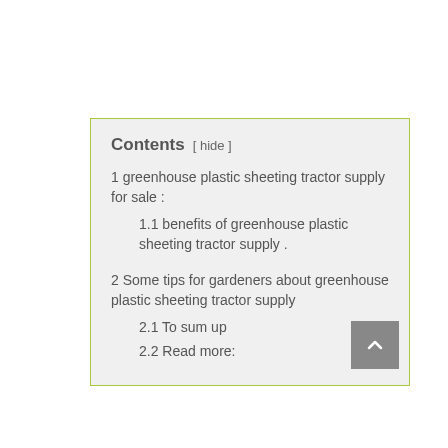Contents [ hide ]
1 greenhouse plastic sheeting tractor supply for sale :
1.1 benefits of greenhouse plastic sheeting tractor supply .
2 Some tips for gardeners about greenhouse plastic sheeting tractor supply
2.1 To sum up
2.2 Read more: